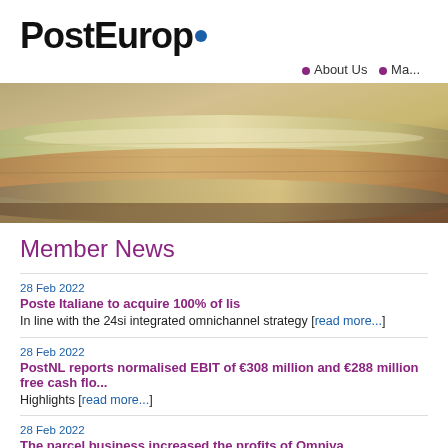PostEurop
About Us • Ma...
[Figure (photo): Close-up photo of rolled newspapers with warm tones of brown, beige and green]
Member News
28 Feb 2022
Poste Italiane to acquire 100% of lis
In line with the 24si integrated omnichannel strategy [read more...]
28 Feb 2022
PostNL reports normalised EBIT of €308 million and €288 million free cash flo...
Highlights [read more...]
28 Feb 2022
The parcel business increased the profits of Omniva
The total revenue of Omniva for the fourth quarter of 2021 was 40.3 million, which is...